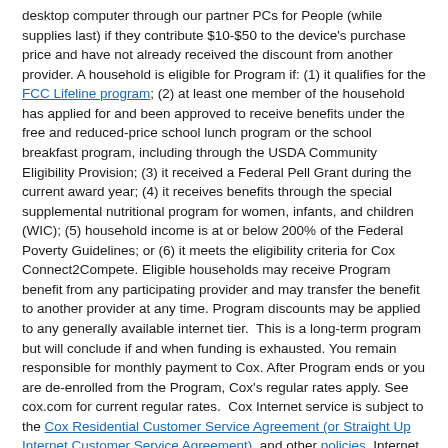desktop computer through our partner PCs for People (while supplies last) if they contribute $10-$50 to the device's purchase price and have not already received the discount from another provider. A household is eligible for Program if: (1) it qualifies for the FCC Lifeline program; (2) at least one member of the household has applied for and been approved to receive benefits under the free and reduced-price school lunch program or the school breakfast program, including through the USDA Community Eligibility Provision; (3) it received a Federal Pell Grant during the current award year; (4) it receives benefits through the special supplemental nutritional program for women, infants, and children (WIC); (5) household income is at or below 200% of the Federal Poverty Guidelines; or (6) it meets the eligibility criteria for Cox Connect2Compete. Eligible households may receive Program benefit from any participating provider and may transfer the benefit to another provider at any time. Program discounts may be applied to any generally available internet tier. This is a long-term program but will conclude if and when funding is exhausted. You remain responsible for monthly payment to Cox. After Program ends or you are de-enrolled from the Program, Cox's regular rates apply. See cox.com for current regular rates. Cox Internet service is subject to the Cox Residential Customer Service Agreement (or Straight Up Internet Customer Service Agreement), and other policies. Internet service discounted through this program may be cancelled at any time without an early termination fee. All application and eligibility decisions are made by the FCC. For more details and to qualify/enroll visit: cox.com/acp.